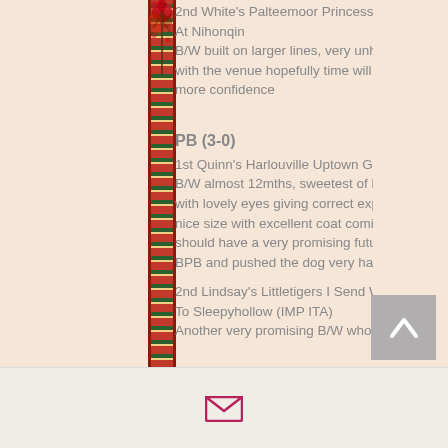2nd White's Palteemoor Princess Megumi At Nihonqin
B/W built on larger lines, very unhappy with the venue hopefully time will give her more confidence
PB (3-0)
1st Quinn's Harlouville Uptown Girl
B/W almost 12mths, sweetest of heads with lovely eyes giving correct expression, nice size with excellent coat coming in should have a very promising future my BPB and pushed the dog very hard for BP
2nd Lindsay's Littletigers I Send With Love To Sleepyhollow (IMP ITA)
Another very promising B/W who